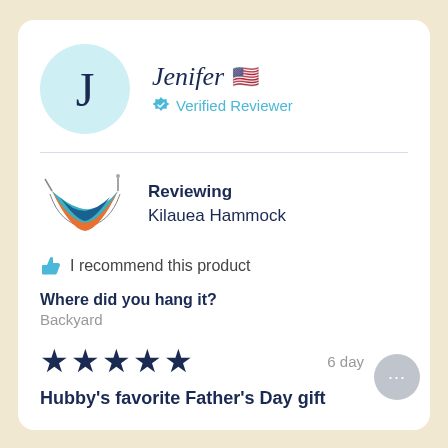[Figure (illustration): Circular avatar with light blue background and the letter J in dark navy]
Jenifer 🇺🇸
✓ Verified Reviewer
[Figure (photo): Colorful hammock product image with teal, orange, and blue colors]
Reviewing
Kilauea Hammock
👍 I recommend this product
Where did you hang it?
Backyard
★★★★★
6 day
Hubby's favorite Father's Day gift